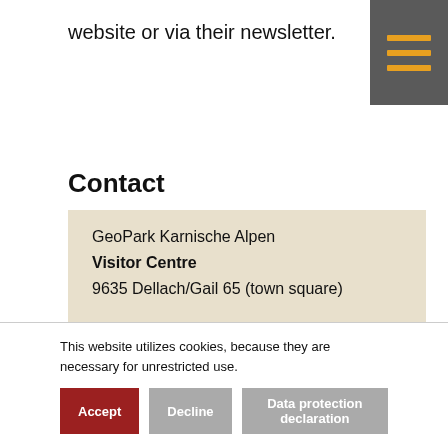website or via their newsletter.
Contact
GeoPark Karnische Alpen
Visitor Centre
9635 Dellach/Gail 65 (town square)

T. +43 (0) 4718 / 301- 17 oder
T. +43 (0) 4718 / 301- 22 oder
T. +43 (0) 4718 / 301- 33
This website utilizes cookies, because they are necessary for unrestricted use.